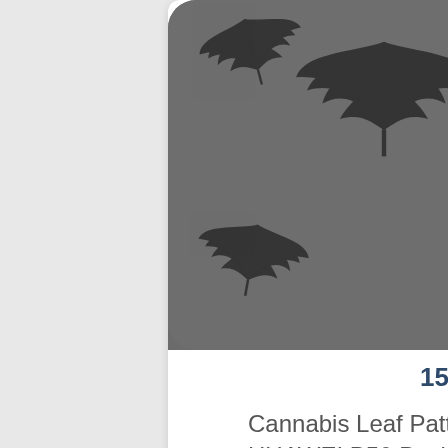[Figure (photo): Cannabis Leaf Pattern HUAWEI P50 Pocket phone case on grey background with dark cannabis leaf pattern, shown from the back]
15.6 $
Cannabis Leaf Pattern HUAWEI P50 Pocket case
[Figure (photo): Black marble texture HUAWEI phone case shown from the back, with camera cutout showing multiple lenses and a smaller circular lens below, with a blue tab on the right side]